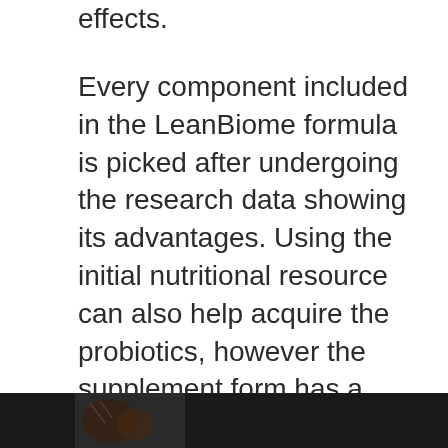effects.
Every component included in the LeanBiome formula is picked after undergoing the research data showing its advantages. Using the initial nutritional resource can also help acquire the probiotics, however the supplement form has a better potency than food; plus, it provides you multiple stress in one small capsule, and you do not have to consume a great deal of probiotics abundant foods on a daily basis. It is a vegan/vegetarian-friendly product, without nuts, soy, milk, BPAs, as well as genetically modified ingredients.
[Figure (photo): Partial image at bottom of page, appears to show a product or food item against a dark/black background.]